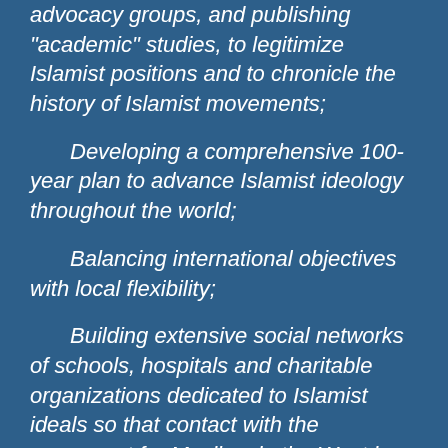advocacy groups, and publishing “academic” studies, to legitimize Islamist positions and to chronicle the history of Islamist movements;
Developing a comprehensive 100-year plan to advance Islamist ideology throughout the world;
Balancing international objectives with local flexibility;
Building extensive social networks of schools, hospitals and charitable organizations dedicated to Islamist ideals so that contact with the movement for Muslims in the West is constant;
Involving ideologically committed Muslims in democratically-elected institutions on all levels in the West, including government, NGOs, private